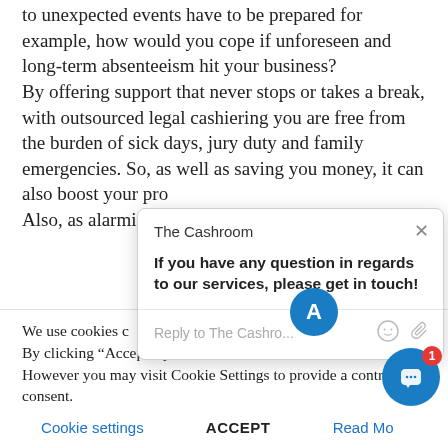to unexpected events have to be prepared for example, how would you cope if unforeseen and long-term absenteeism hit your business?
By offering support that never stops or takes a break, with outsourced legal cashiering you are free from the burden of sick days, jury duty and family emergencies. So, as well as saving you money, it can also boost your pro
Also, as alarmist as conditions are on th
We use cookies c w experience by remembe s. By clicking “Accept”, you However you may visit Cookie Settings to provide a controlled consent.
Cookie settings    ACCEPT    Read Mo